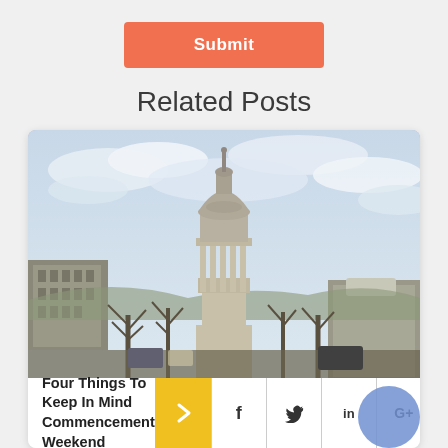Submit
Related Posts
[Figure (photo): Photograph of Penn State Old Main building tower with dome against a cloudy sky, with bare winter trees and campus buildings in the background]
Four Things To Keep In Mind Commencement Weekend